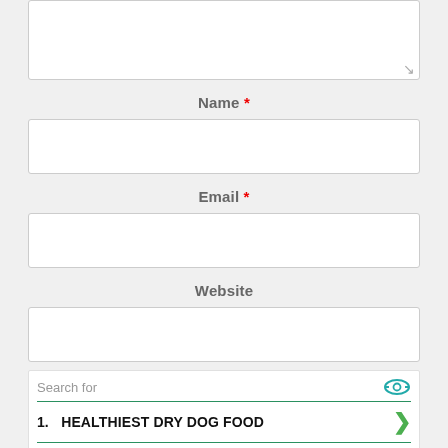[Figure (screenshot): Textarea input box (partially visible at top) with resize handle in bottom right corner]
Name *
[Figure (screenshot): Name text input field, empty]
Email *
[Figure (screenshot): Email text input field, empty]
Website
[Figure (screenshot): Website text input field, empty]
Search for
1. HEALTHIEST DRY DOG FOOD
2. CLARITIN FOR ITCHY DOG ALLERGY
Yahoo! Search | Sponsored